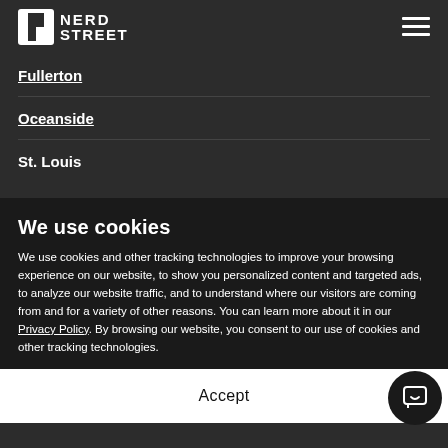Nerd Street
Fullerton
Oceanside
St. Louis
We use cookies
We use cookies and other tracking technologies to improve your browsing experience on our website, to show you personalized content and targeted ads, to analyze our website traffic, and to understand where our visitors are coming from and for a variety of other reasons. You can learn more about it in our Privacy Policy. By browsing our website, you consent to our use of cookies and other tracking technologies.
Accept